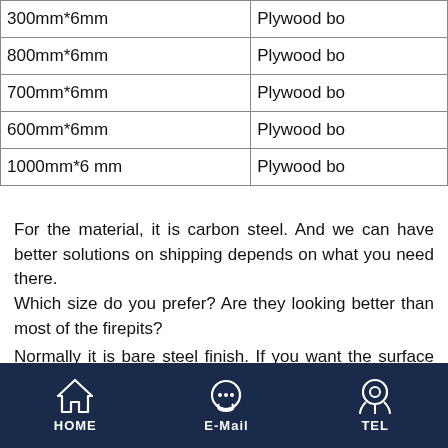| Size | Packaging |
| --- | --- |
| 300mm*6mm | Plywood bo |
| 800mm*6mm | Plywood bo |
| 700mm*6mm | Plywood bo |
| 600mm*6mm | Plywood bo |
| 1000mm*6 mm | Plywood bo |
For the material, it is carbon steel. And we can have better solutions on shipping depends on what you need there.
Which size do you prefer? Are they looking better than most of the firepits?
Normally it is bare steel finish. If you want the surface to be black color high temperature resistant painted, it is acceptable. But the MOQ will be higher, like 40 to 50 units. As for sizes, please kindly check the form above.
HOME   E-Mail   TEL